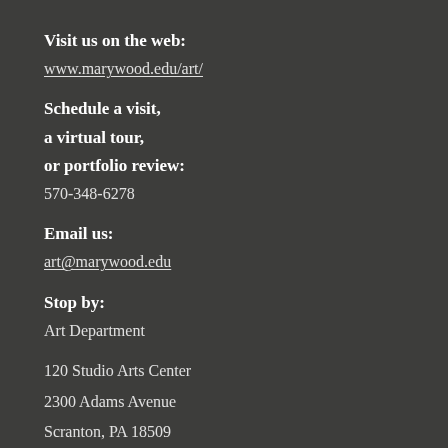Visit us on the web:
www.marywood.edu/art/
Schedule a visit,
a virtual tour,
or portfolio review:
570-348-6278
Email us:
art@marywood.edu
Stop by:
Art Department
120 Studio Arts Center
2300 Adams Avenue
Scranton, PA 18509